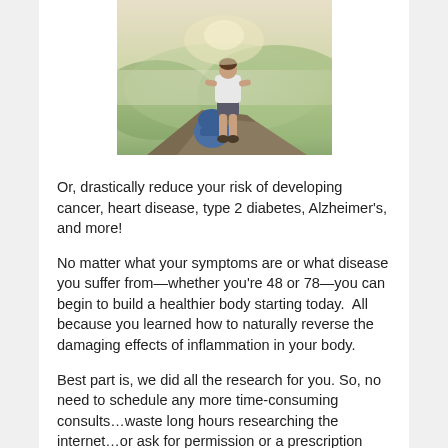[Figure (photo): Person standing on a rocky mountain overlook from behind, wearing shorts and a white top, with a blue backpack on the ground beside them, misty green hills in the background.]
Or, drastically reduce your risk of developing cancer, heart disease, type 2 diabetes, Alzheimer's, and more!
No matter what your symptoms are or what disease you suffer from—whether you're 48 or 78—you can begin to build a healthier body starting today.  All because you learned how to naturally reverse the damaging effects of inflammation in your body.
Best part is, we did all the research for you. So, no need to schedule any more time-consuming consults…waste long hours researching the internet…or ask for permission or a prescription from your doctor.
But don't wait. Grab it now…and say goodbye to